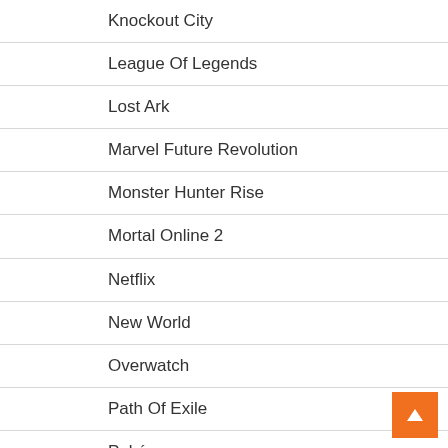Knockout City
League Of Legends
Lost Ark
Marvel Future Revolution
Monster Hunter Rise
Mortal Online 2
Netflix
New World
Overwatch
Path Of Exile
Pokémon